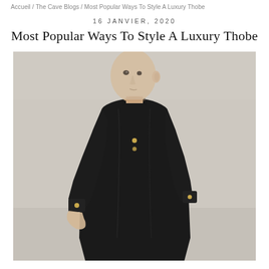Accueil / The Cave Blogs / Most Popular Ways To Style A Luxury Thobe
16 JANVIER, 2020
Most Popular Ways To Style A Luxury Thobe
[Figure (photo): A young man with a shaved head wearing a long black luxury thobe, photographed against a light beige/cream background, looking over his shoulder toward the camera.]